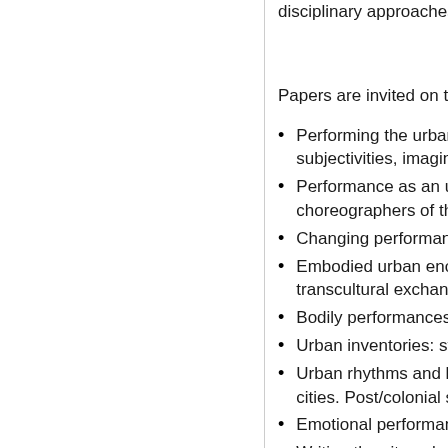disciplinary approaches,
Papers are invited on top
Performing the urban… subjectivities, imagin…
Performance as an u… choreographers of th…
Changing performanc…
Embodied urban enc… transcultural exchang…
Bodily performances…
Urban inventories: st…
Urban rhythms and h… cities. Post/colonial s…
Emotional performan…
Writing the city: urb…